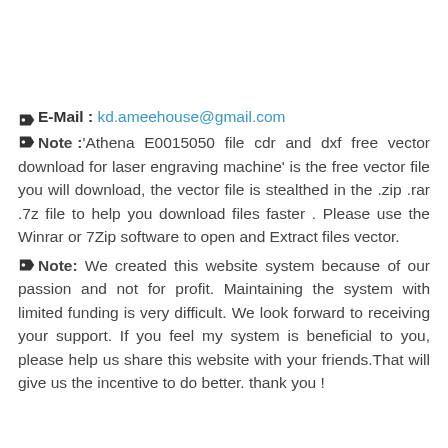E-Mail : kd.ameehouse@gmail.com
Note :'Athena E0015050 file cdr and dxf free vector download for laser engraving machine' is the free vector file you will download, the vector file is stealthed in the .zip .rar .7z file to help you download files faster . Please use the Winrar or 7Zip software to open and Extract files vector.
Note: We created this website system because of our passion and not for profit. Maintaining the system with limited funding is very difficult. We look forward to receiving your support. If you feel my system is beneficial to you, please help us share this website with your friends.That will give us the incentive to do better. thank you !